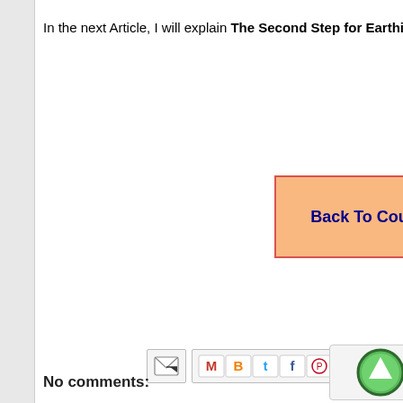In the next Article, I will explain The Second Step for Earthing
[Figure (other): Orange button with red border partially visible, labeled 'Back To Cou' (truncated)]
[Figure (other): Email share icon (envelope with arrow)]
[Figure (other): Social sharing icons: Gmail, Blogger, Twitter, Facebook, Pinterest]
[Figure (other): Green circular up arrow button on light grey rounded rectangle]
No comments: